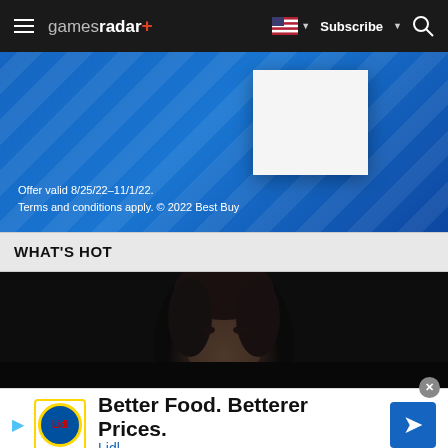gamesradar+ | Subscribe | Search
[Figure (screenshot): Best Buy advertisement banner with blue diagonal striped background and white product box. Text reads: 'Offer valid 8/25/22–11/1/22. Terms and conditions apply. © 2022 Best Buy']
WHAT'S HOT
[Figure (photo): Dark, moody close-up photo of a young person with dark hair looking intensely at the camera, with dark lighting and slight freckles visible]
[Figure (screenshot): Lidl advertisement overlay. Play button icon, Lidl logo (blue circle with red text on yellow border). Text: 'Better Food. Betterer Prices.' and 'Lidl' in blue. Blue diamond navigation icon on right. Close button (x) at top right.]